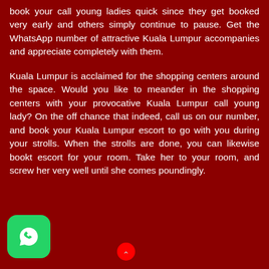book your call young ladies quick since they get booked very early and others simply continue to pause. Get the WhatsApp number of attractive Kuala Lumpur accompanies and appreciate completely with them.
Kuala Lumpur is acclaimed for the shopping centers around the space. Would you like to meander in the shopping centers with your provocative Kuala Lumpur call young lady? On the off chance that indeed, call us on our number, and book your Kuala Lumpur escort to go with you during your strolls. When the strolls are done, you can likewise book t escort for your room. Take her to your room, and screw her very well until she comes poundingly.
[Figure (logo): WhatsApp green logo icon at bottom left]